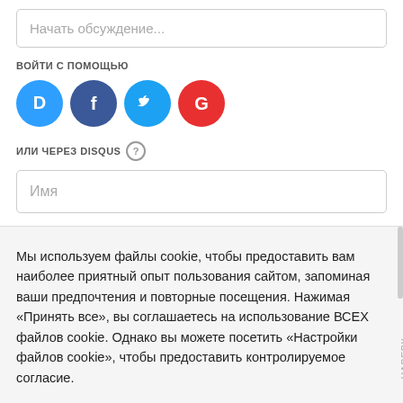Начать обсуждение...
ВОЙТИ С ПОМОЩЬЮ
[Figure (illustration): Four social login icons: Disqus (blue circle with D), Facebook (dark blue circle with f), Twitter (light blue circle with bird), Google (red circle with G)]
ИЛИ ЧЕРЕЗ DISQUS ?
Имя
Мы используем файлы cookie, чтобы предоставить вам наиболее приятный опыт пользования сайтом, запоминая ваши предпочтения и повторные посещения. Нажимая «Принять все», вы соглашаетесь на использование ВСЕХ файлов cookie. Однако вы можете посетить «Настройки файлов cookie», чтобы предоставить контролируемое согласие.
Cookie Settings
Принять все
НАВЕРХ